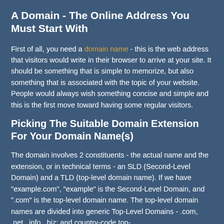A Domain - The Online Address You Must Start With
First of all, you need a domain name - this is the web address that visitors would write in their browser to arrive at your site. It should be something that is simple to memorize, but also something that is associated with the topic of your website. People would always wish something concise and simple and this is the first move toward having some regular visitors.
Picking The Suitable Domain Extension For Your Domain Name(s)
The domain involves 2 constituents - the actual name and the extension, or in technical terms - an SLD (Second-Level Domain) and a TLD (top-level domain name). If we have "example.com", "example" is the Second-Level Domain, and ".com" is the top-level domain name. The top-level domain names are divided into generic Top-Level Domains - .com, .net, .info, .biz; and country-code top-